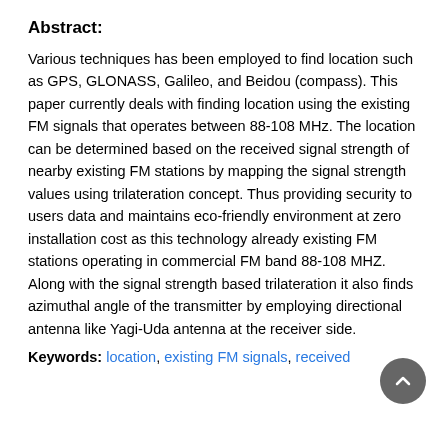Abstract:
Various techniques has been employed to find location such as GPS, GLONASS, Galileo, and Beidou (compass). This paper currently deals with finding location using the existing FM signals that operates between 88-108 MHz. The location can be determined based on the received signal strength of nearby existing FM stations by mapping the signal strength values using trilateration concept. Thus providing security to users data and maintains eco-friendly environment at zero installation cost as this technology already existing FM stations operating in commercial FM band 88-108 MHZ. Along with the signal strength based trilateration it also finds azimuthal angle of the transmitter by employing directional antenna like Yagi-Uda antenna at the receiver side.
Keywords: location, existing FM signals, received